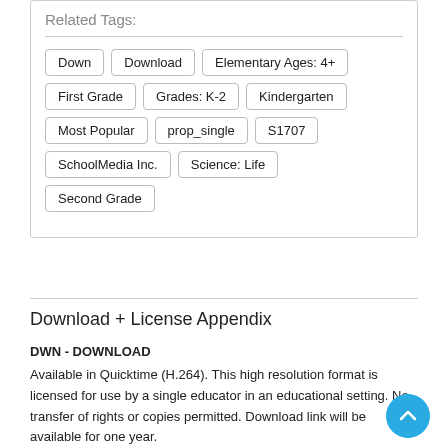Related Tags:
Down
Download
Elementary Ages: 4+
First Grade
Grades: K-2
Kindergarten
Most Popular
prop_single
S1707
SchoolMedia Inc.
Science: Life
Second Grade
Download + License Appendix
DWN - DOWNLOAD
Available in Quicktime (H.264). This high resolution format is licensed for use by a single educator in an educational setting. No transfer of rights or copies permitted. Download link will be available for one year.